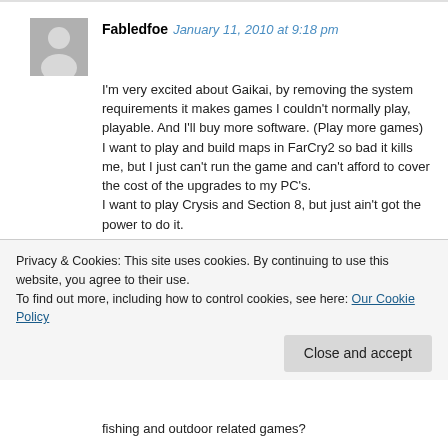Fabledfoe January 11, 2010 at 9:18 pm
I'm very excited about Gaikai, by removing the system requirements it makes games I couldn't normally play, playable. And I'll buy more software. (Play more games)
I want to play and build maps in FarCry2 so bad it kills me, but I just can't run the game and can't afford to cover the cost of the upgrades to my PC's.
I want to play Crysis and Section 8, but just ain't got the power to do it.
Gaikai is (seems) like a 200 mile per gallon carburetor. I really hope it doesn't get bought up by the oil companies to keep it away from the public so they can continue to make more money from gasoline.
Privacy & Cookies: This site uses cookies. By continuing to use this website, you agree to their use.
To find out more, including how to control cookies, see here: Our Cookie Policy
Close and accept
fishing and outdoor related games?